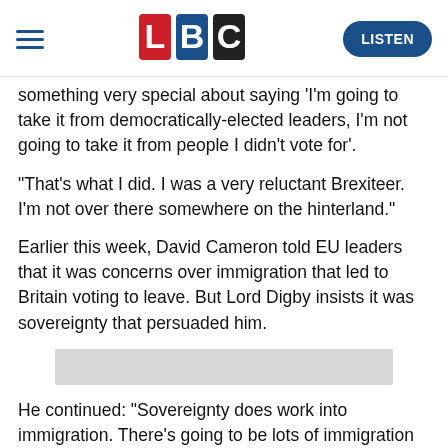LBC — LISTEN
something very special about saying 'I'm going to take it from democratically-elected leaders, I'm not going to take it from people I didn't vote for'.
"That's what I did. I was a very reluctant Brexiteer. I'm not over there somewhere on the hinterland."
Earlier this week, David Cameron told EU leaders that it was concerns over immigration that led to Britain voting to leave. But Lord Digby insists it was sovereignty that persuaded him.
[Figure (other): Grey placeholder bar / advertisement area]
He continued: "Sovereignty does work into immigration. There's going to be lots of immigration from Europe, of course there is.